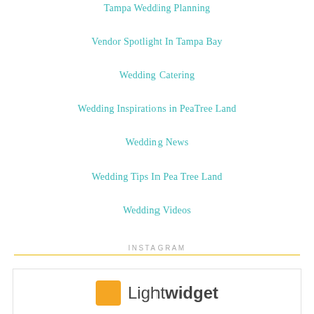Tampa Wedding Planning
Vendor Spotlight In Tampa Bay
Wedding Catering
Wedding Inspirations in PeaTree Land
Wedding News
Wedding Tips In Pea Tree Land
Wedding Videos
INSTAGRAM
[Figure (logo): Lightwidget logo with orange square and text 'Lightwidget']